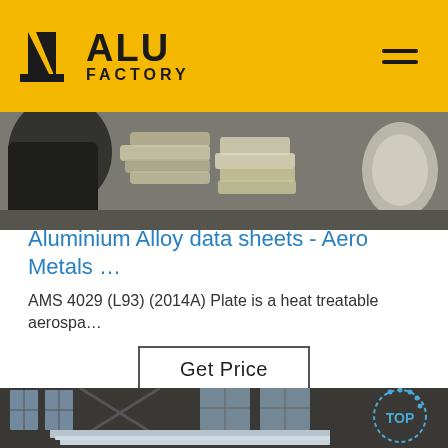ALU FACTORY
[Figure (photo): Warehouse or factory interior with aluminum materials, bags and rolls stacked]
Aluminium Alloy data sheets - Aero Metals …
AMS 4029 (L93) (2014A) Plate is a heat treatable aerospa…
Get Price
[Figure (photo): Industrial warehouse interior with large aluminum plates/sheets and a TOP watermark badge in bottom right corner]